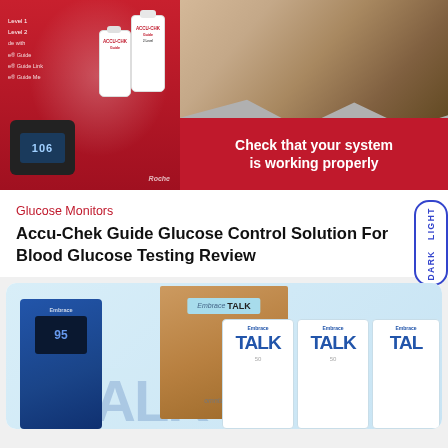[Figure (photo): Accu-Chek Guide glucose control solution product on red background with bottles and glucose monitor showing 106]
[Figure (photo): Person's hand using a blood glucose monitor, with red banner text reading 'Check that your system is working properly']
Glucose Monitors
Accu-Chek Guide Glucose Control Solution For Blood Glucose Testing Review
[Figure (photo): Embrace TALK glucose monitor product display showing device, large cardboard box with Embrace TALK branding, and multiple white TALK test strip boxes]